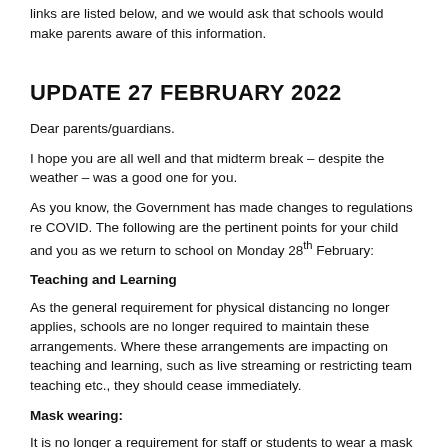links are listed below, and we would ask that schools would make parents aware of this information.
UPDATE 27 FEBRUARY 2022
Dear parents/guardians.
I hope you are all well and that midterm break – despite the weather – was a good one for you.
As you know, the Government has made changes to regulations re COVID. The following are the pertinent points for your child and you as we return to school on Monday 28th February:
Teaching and Learning
As the general requirement for physical distancing no longer applies, schools are no longer required to maintain these arrangements. Where these arrangements are impacting on teaching and learning, such as live streaming or restricting team teaching etc., they should cease immediately.
Mask wearing:
It is no longer a requirement for staff or students to wear a mask in school. Staff and students can continue to wear a mask if they wish to do so. Schools should continue to make masks